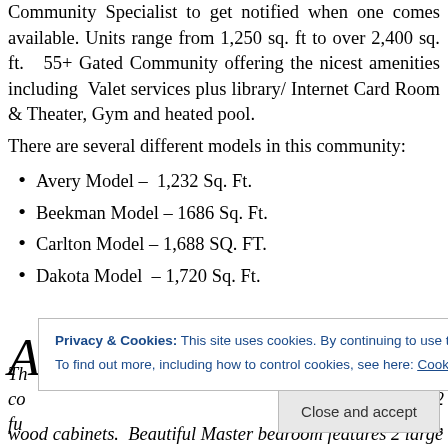Community Specialist to get notified when one comes available. Units range from 1,250 sq. ft to over 2,400 sq. ft.  55+ Gated Community offering the nicest amenities including Valet services plus library/Internet Card Room & Theater, Gym and heated pool.
There are several different models in this community:
Avery Model – 1,232 Sq. Ft.
Beekman Model – 1686 Sq. Ft.
Carlton Model – 1,688 SQ. FT.
Dakota Model – 1,720 Sq. Ft.
Privacy & Cookies: This site uses cookies. By continuing to use this website, you agree to their use.
To find out more, including how to control cookies, see here: Cookie Policy
Close and accept
wood cabinets.  Beautiful Master bedroom features 2 large